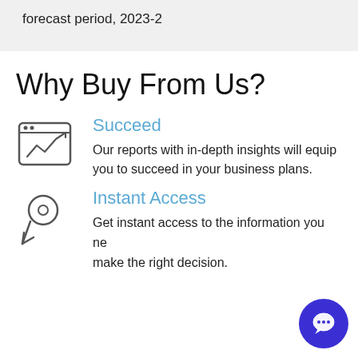forecast period, 2023-2
Why Buy From Us?
Succeed
Our reports with in-depth insights will equip you to succeed in your business plans.
Instant Access
Get instant access to the information you need to make the right decision.